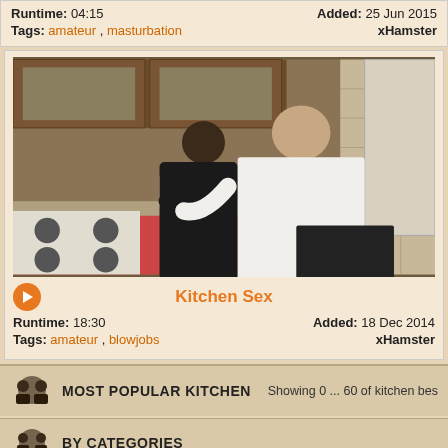Runtime: 04:15   Added: 25 Jun 2015
Tags: amateur , masturbation   xHamster
[Figure (photo): Two people in a kitchen scene, one wearing a white shirt, near kitchen countertop with cabinets visible]
Kitchen Sex
Runtime: 18:30   Added: 18 Dec 2014
Tags: amateur , blowjobs   xHamster
MOST POPULAR KITCHEN   Showing 0 ... 60 of kitchen bes
BY CATEGORIES